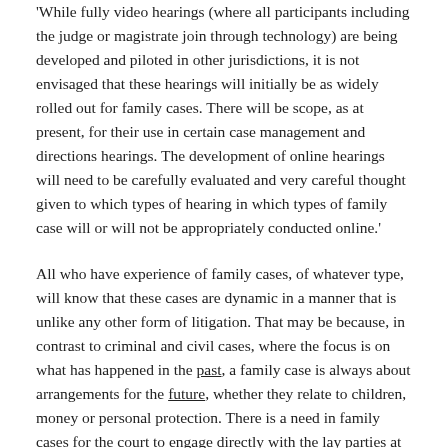'While fully video hearings (where all participants including the judge or magistrate join through technology) are being developed and piloted in other jurisdictions, it is not envisaged that these hearings will initially be as widely rolled out for family cases. There will be scope, as at present, for their use in certain case management and directions hearings. The development of online hearings will need to be carefully evaluated and very careful thought given to which types of hearing in which types of family case will or will not be appropriately conducted online.'
All who have experience of family cases, of whatever type, will know that these cases are dynamic in a manner that is unlike any other form of litigation. That may be because, in contrast to criminal and civil cases, where the focus is on what has happened in the past, a family case is always about arrangements for the future, whether they relate to children, money or personal protection. There is a need in family cases for the court to engage directly with the lay parties at each hearing which is greater than that which may be